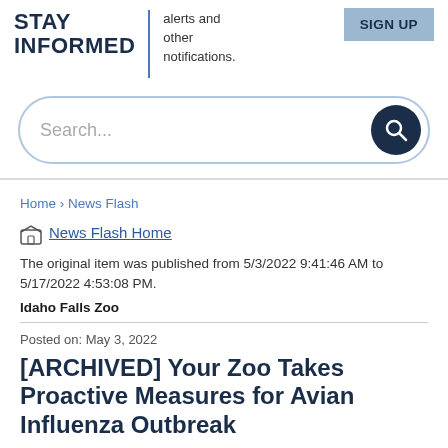STAY INFORMED
alerts and other notifications.
SIGN UP
[Figure (other): Search bar with magnifying glass icon]
Home › News Flash
News Flash Home
The original item was published from 5/3/2022 9:41:46 AM to 5/17/2022 4:53:08 PM.
Idaho Falls Zoo
Posted on: May 3, 2022
[ARCHIVED] Your Zoo Takes Proactive Measures for Avian Influenza Outbreak